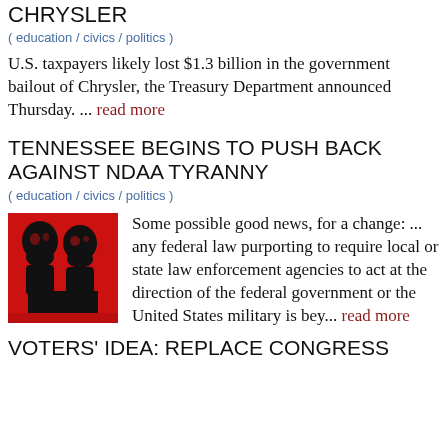CHRYSLER
( education / civics / politics )
U.S. taxpayers likely lost $1.3 billion in the government bailout of Chrysler, the Treasury Department announced Thursday. ... read more
TENNESSEE BEGINS TO PUSH BACK AGAINST NDAA TYRANNY
( education / civics / politics )
[Figure (illustration): Red and black stylized illustration showing two figures, possibly political leaders, in a propaganda-poster style]
Some possible good news, for a change: ... any federal law purporting to require local or state law enforcement agencies to act at the direction of the federal government or the United States military is bey... read more
VOTERS' IDEA: REPLACE CONGRESS